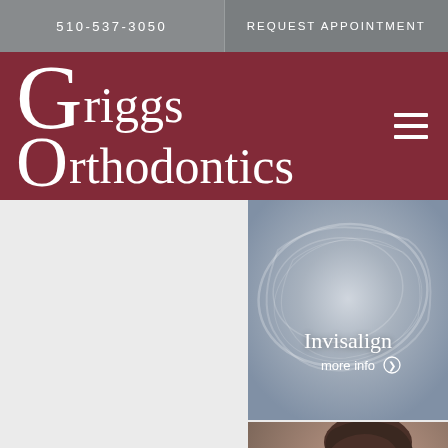510-537-3050
REQUEST APPOINTMENT
Griggs Orthodontics
[Figure (photo): Close-up photo of a clear dental aligner/retainer with the text 'Invisalign' and 'more info' overlaid in white]
Invisalign
more info
[Figure (photo): Photo of a woman holding her jaw in pain with the text 'Jaw Surgery' overlaid in white]
Jaw Surgery